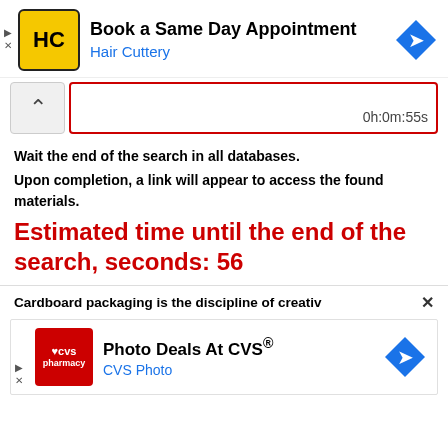[Figure (screenshot): Hair Cuttery advertisement banner: yellow HC logo, 'Book a Same Day Appointment' title, 'Hair Cuttery' subtitle in blue, navigation arrow icon on right, ad controls (play/close) on left]
[Figure (screenshot): Progress bar area with collapse chevron button on left and red-bordered timer box showing '0h:0m:55s']
Wait the end of the search in all databases.
Upon completion, a link will appear to access the found materials.
Estimated time until the end of the search, seconds: 56
Cardboard packaging is the discipline of creativ ×
[Figure (screenshot): CVS Photo advertisement banner: red CVS pharmacy logo, 'Photo Deals At CVS®' title, 'CVS Photo' subtitle in blue, navigation arrow on right, ad controls on left]